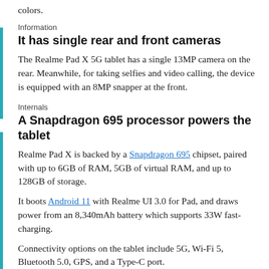colors.
Information
It has single rear and front cameras
The Realme Pad X 5G tablet has a single 13MP camera on the rear. Meanwhile, for taking selfies and video calling, the device is equipped with an 8MP snapper at the front.
Internals
A Snapdragon 695 processor powers the tablet
Realme Pad X is backed by a Snapdragon 695 chipset, paired with up to 6GB of RAM, 5GB of virtual RAM, and up to 128GB of storage.
It boots Android 11 with Realme UI 3.0 for Pad, and draws power from an 8,340mAh battery which supports 33W fast-charging.
Connectivity options on the tablet include 5G, Wi-Fi 5, Bluetooth 5.0, GPS, and a Type-C port.